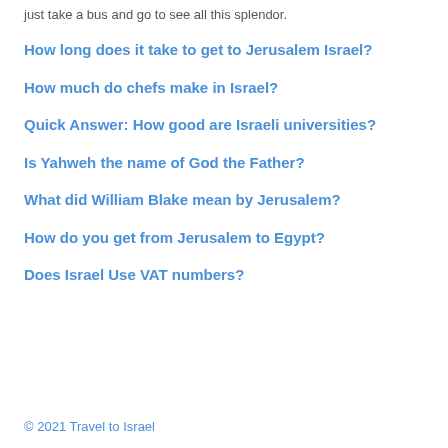just take a bus and go to see all this splendor.
How long does it take to get to Jerusalem Israel?
How much do chefs make in Israel?
Quick Answer: How good are Israeli universities?
Is Yahweh the name of God the Father?
What did William Blake mean by Jerusalem?
How do you get from Jerusalem to Egypt?
Does Israel Use VAT numbers?
© 2021 Travel to Israel